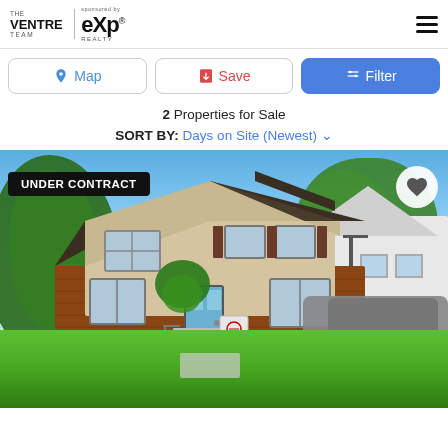[Figure (logo): The Ventre Team | eXp Realty logo]
Map | Save | Filter buttons
2 Properties for Sale
SORT BY: Days on Site (Newest)
[Figure (photo): A residential home with brick exterior, green lawn, blue sky, trees. Badge overlay: UNDER CONTRACT. Heart/favorite button in top right.]